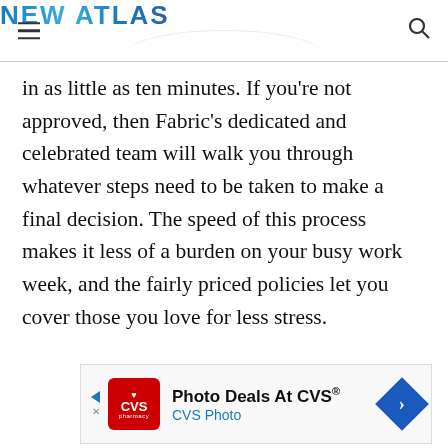NEW ATLAS
in as little as ten minutes. If you're not approved, then Fabric's dedicated and celebrated team will walk you through whatever steps need to be taken to make a final decision. The speed of this process makes it less of a burden on your busy work week, and the fairly priced policies let you cover those you love for less stress.
[Figure (screenshot): Advertisement banner for CVS Photo - 'Photo Deals At CVS®' with CVS Pharmacy logo and navigation arrow]